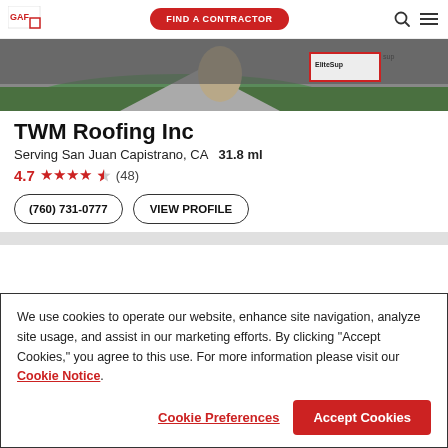GAF | FIND A CONTRACTOR
[Figure (photo): Aerial or ground-level photo of a roof/property with green lawn and stone/gravel features. Partially obscured by cookie overlay.]
TWM Roofing Inc
Serving San Juan Capistrano, CA   31.8 ml
4.7 ★★★★½ (48)
(760) 731-0777   VIEW PROFILE
We use cookies to operate our website, enhance site navigation, analyze site usage, and assist in our marketing efforts. By clicking "Accept Cookies," you agree to this use. For more information please visit our Cookie Notice.
Cookie Preferences   Accept Cookies